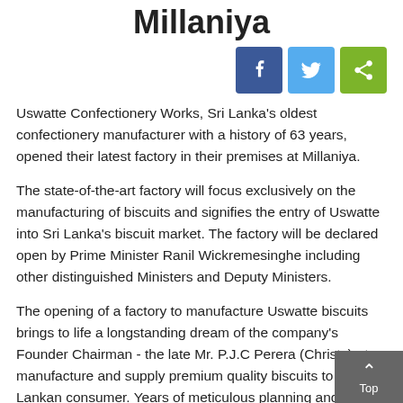Millaniya
[Figure (other): Social share buttons: Facebook (blue), Twitter (light blue), Share (green)]
Uswatte Confectionery Works, Sri Lanka's oldest confectionery manufacturer with a history of 63 years, opened their latest factory in their premises at Millaniya.
The state-of-the-art factory will focus exclusively on the manufacturing of biscuits and signifies the entry of Uswatte into Sri Lanka's biscuit market. The factory will be declared open by Prime Minister Ranil Wickremesinghe including other distinguished Ministers and Deputy Ministers.
The opening of a factory to manufacture Uswatte biscuits brings to life a longstanding dream of the company's Founder Chairman - the late Mr. P.J.C Perera (Christy) - to manufacture and supply premium quality biscuits to the Sri Lankan consumer. Years of meticulous planning and preparation under the dynamic leadership of present Chairman/Managing Director S. Quintus Perera have enabled the company to continue to the table...